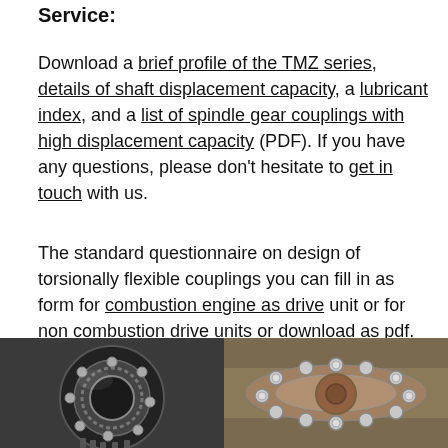Service:
Download a brief profile of the TMZ series, details of shaft displacement capacity, a lubricant index, and a list of spindle gear couplings with high displacement capacity (PDF). If you have any questions, please don’t hesitate to get in touch with us.
The standard questionnaire on design of torsionally flexible couplings you can fill in as form for combustion engine as drive unit or for non combustion drive units or download as pdf. As an additional recommendation we hint on a neat conversion program that’s worth its weight in gold! (Thanks to Josh Madison.)
[Figure (photo): Close-up photo of a large industrial roller bearing showing inner ring teeth and ball bearings]
[Figure (photo): Close-up photo of industrial gear coupling components with metallic bolts and flanges]